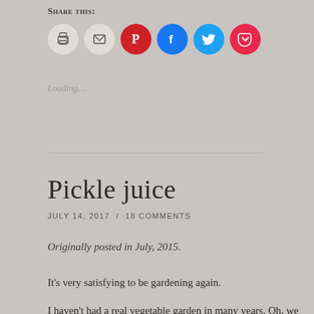Share this:
[Figure (infographic): Six social sharing buttons as colored circles: print (light gray), email (light gray), Pinterest (red), Facebook (blue), Twitter (light blue), Pocket (pink-red)]
Loading...
Pickle juice
JULY 14, 2017 / 18 COMMENTS
Originally posted in July, 2015.
It’s very satisfying to be gardening again.
I haven’t had a real vegetable garden in many years. Oh, we